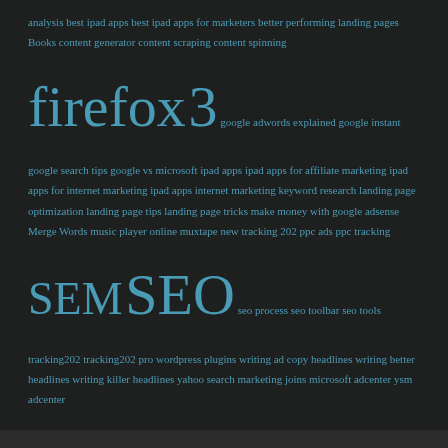analysis best ipad apps best ipad apps for marketers better performing landing pages Books content generator content scraping content spinning firefox 3 google adwords explained google instant google search tips google vs microsoft ipad apps ipad apps for affiliate marketing ipad apps for internet marketing ipad apps internet marketing keyword research landing page optimization landing page tips landing page tricks make money with google adsense Merge Words music player online muxtape new tracking 202 ppc ads ppc tracking SEM SEO seo process seo toolbar seo tools tracking202 tracking202 pro wordpress plugins writing ad copy headlines writing better headlines writing killer headlines yahoo search marketing joins microsoft adcenter ysm adcenter
Copyright © 2022 · eleven40 Pro Theme on Genesis Framework · WordPress · Log in